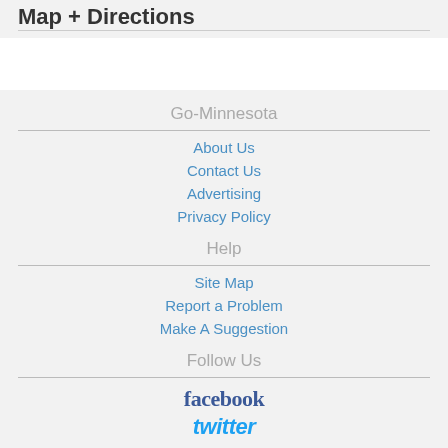Map + Directions
Go-Minnesota
About Us
Contact Us
Advertising
Privacy Policy
Help
Site Map
Report a Problem
Make A Suggestion
Follow Us
facebook
twitter